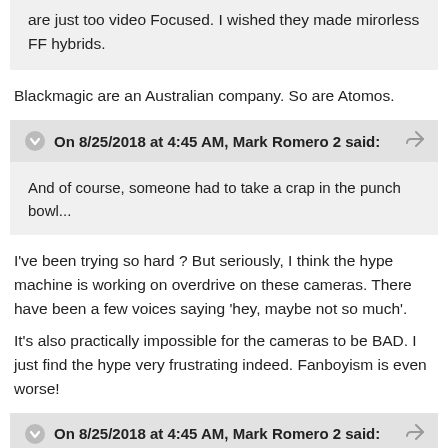are just too video Focused. I wished they made mirorless FF hybrids.
Blackmagic are an Australian company. So are Atomos.
On 8/25/2018 at 4:45 AM, Mark Romero 2 said:
And of course, someone had to take a crap in the punch bowl...
I've been trying so hard ? But seriously, I think the hype machine is working on overdrive on these cameras. There have been a few voices saying 'hey, maybe not so much'.
It's also practically impossible for the cameras to be BAD. I just find the hype very frustrating indeed. Fanboyism is even worse!
On 8/25/2018 at 4:45 AM, Mark Romero 2 said:
Lackluster autofocus
No Eye Autofocus